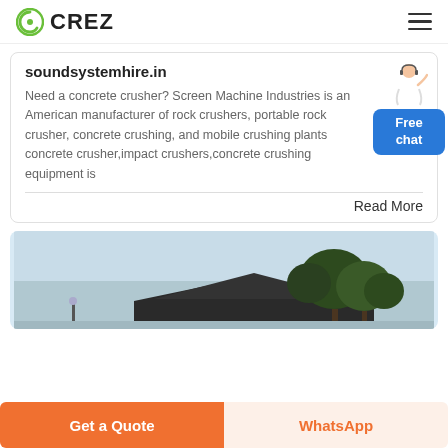CREZ
soundsystemhire.in
Need a concrete crusher? Screen Machine Industries is an American manufacturer of rock crushers, portable rock crusher, concrete crushing, and mobile crushing plants concrete crusher,impact crushers,concrete crushing equipment is
Read More
[Figure (photo): Outdoor scene with trees and a dark structure against a light sky]
Get a Quote
WhatsApp